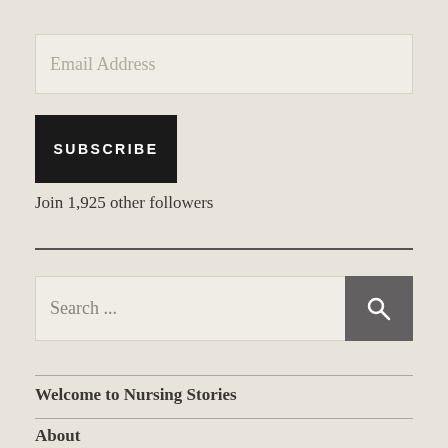Email Address
SUBSCRIBE
Join 1,925 other followers
Search ...
Welcome to Nursing Stories
About